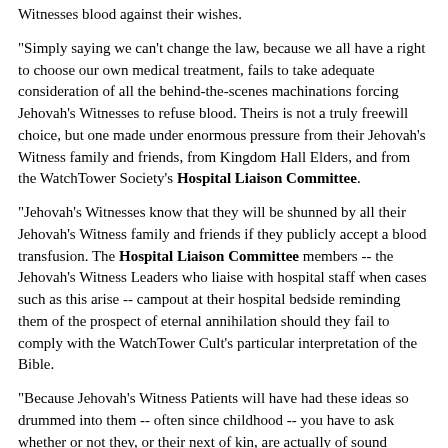Witnesses blood against their wishes.
"Simply saying we can't change the law, because we all have a right to choose our own medical treatment, fails to take adequate consideration of all the behind-the-scenes machinations forcing Jehovah's Witnesses to refuse blood. Theirs is not a truly freewill choice, but one made under enormous pressure from their Jehovah's Witness family and friends, from Kingdom Hall Elders, and from the WatchTower Society's Hospital Liaison Committee.
"Jehovah's Witnesses know that they will be shunned by all their Jehovah's Witness family and friends if they publicly accept a blood transfusion. The Hospital Liaison Committee members -- the Jehovah's Witness Leaders who liaise with hospital staff when cases such as this arise -- campout at their hospital bedside reminding them of the prospect of eternal annihilation should they fail to comply with the WatchTower Cult's particular interpretation of the Bible.
"Because Jehovah's Witness Patients will have had these ideas so drummed into them -- often since childhood -- you have to ask whether or not they, or their next of kin, are actually of sound enough mind to make the decision to refuse a transfusion.
"Worse still, Jehovah's Witness Leaders seem to treat as martyrs those Jehovah's Witnesses who die refusing transfusions. The